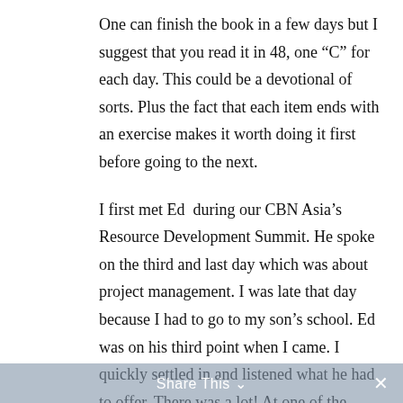One can finish the book in a few days but I suggest that you read it in 48, one “C” for each day. This could be a devotional of sorts. Plus the fact that each item ends with an exercise makes it worth doing it first before going to the next.

I first met Ed  during our CBN Asia’s Resource Development Summit. He spoke on the third and last day which was about project management. I was late that day because I had to go to my son’s school. Ed was on his third point when I came. I quickly settled in and listened what he had to offer. There was a lot! At one of the breaks, I found out that they were selling his book but was not that interested-yet. You got it right, its the book I am writing about today.
Share This